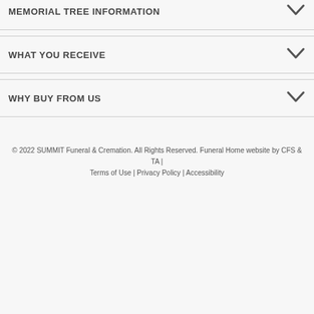MEMORIAL TREE INFORMATION
WHAT YOU RECEIVE
WHY BUY FROM US
© 2022 SUMMIT Funeral & Cremation. All Rights Reserved. Funeral Home website by CFS & TA | Terms of Use | Privacy Policy | Accessibility